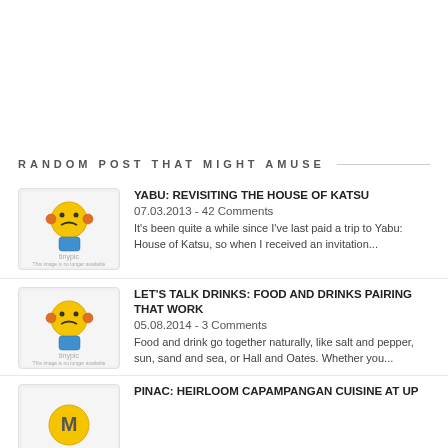RANDOM POST THAT MIGHT AMUSE
YABU: REVISITING THE HOUSE OF KATSU
07.03.2013 - 42 Comments
It's been quite a while since I've last paid a trip to Yabu: House of Katsu, so when I received an invitation...
LET'S TALK DRINKS: FOOD AND DRINKS PAIRING THAT WORK
05.08.2014 - 3 Comments
Food and drink go together naturally, like salt and pepper, sun, sand and sea, or Hall and Oates. Whether you...
PINAC: HEIRLOOM CAPAMPANGAN CUISINE AT UP